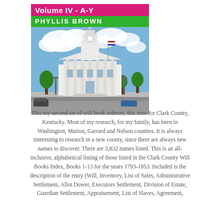[Figure (photo): Book cover for 'Volume IV - A-Y' by Phyllis Brown, showing a magenta title bar, green author bar, and a photograph of a white classical courthouse building with a clock tower, American flag, blue sky with clouds]
This my second set of will book indexes, this time for Clark County, Kentucky. Most of my research, for my family, has been in Washington, Marion, Garrard and Nelson counties. It is always interesting to research in a new county, since there are always new names to discover. There are 3,832 names listed. This is an all-inclusive, alphabetical listing of those listed in the Clark County Will Books Index, Books 1-13 for the years 1793-1853. Included is the description of the entry (Will, Inventory, List of Sales, Administrative Settlement, Allot Dower, Executors Settlement, Division of Estate, Guardian Settlement, Appraisement, List of Slaves, Agreement,